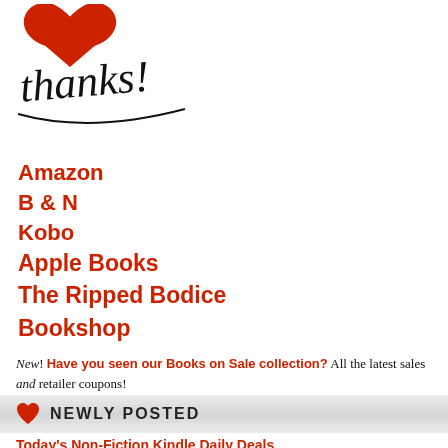[Figure (illustration): Red heart with cursive 'thanks!' text in black script below it]
Amazon
B & N
Kobo
Apple Books
The Ripped Bodice
Bookshop
New! Have you seen our Books on Sale collection? All the latest sales and retailer coupons!
NEWLY POSTED
Today's Non-Fiction Kindle Daily Deals
SBTB Bestsellers: July 30 – August 19
A Courtney Milan Contemporary: Non Fiction, & More